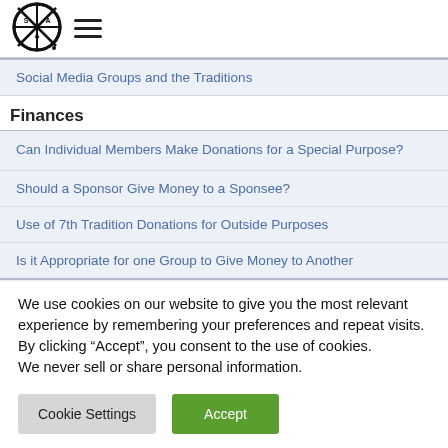[Figure (logo): SAA circular logo with cross/compass design]
Social Media Groups and the Traditions
Finances
Can Individual Members Make Donations for a Special Purpose?
Should a Sponsor Give Money to a Sponsee?
Use of 7th Tradition Donations for Outside Purposes
Is it Appropriate for one Group to Give Money to Another
We use cookies on our website to give you the most relevant experience by remembering your preferences and repeat visits. By clicking “Accept”, you consent to the use of cookies.
We never sell or share personal information.
Cookie Settings
Accept